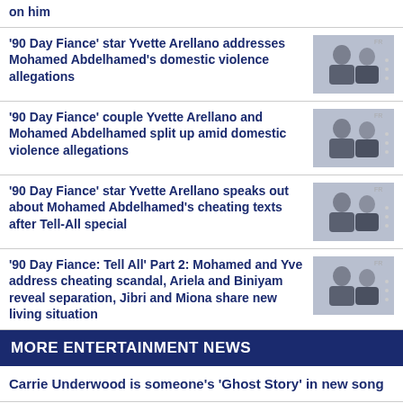on him
'90 Day Fiance' star Yvette Arellano addresses Mohamed Abdelhamed's domestic violence allegations
'90 Day Fiance' couple Yvette Arellano and Mohamed Abdelhamed split up amid domestic violence allegations
'90 Day Fiance' star Yvette Arellano speaks out about Mohamed Abdelhamed's cheating texts after Tell-All special
'90 Day Fiance: Tell All' Part 2: Mohamed and Yve address cheating scandal, Ariela and Biniyam reveal separation, Jibri and Miona share new living situation
MORE ENTERTAINMENT NEWS
Carrie Underwood is someone's 'Ghost Story' in new song
'Encanto' tops U.S. album chart for eighth consecutive week